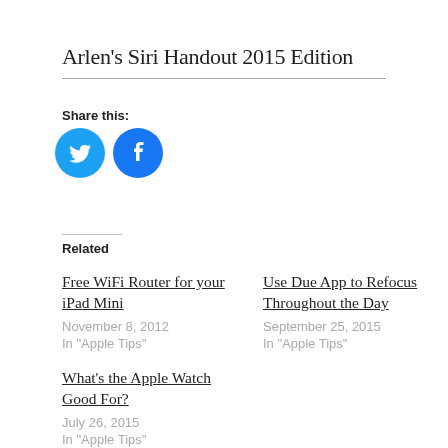Arlen's Siri Handout 2015 Edition
Share this:
[Figure (infographic): Two social media share buttons: Twitter (bird icon, blue circle) and Facebook (f icon, blue circle)]
Related
Free WiFi Router for your iPad Mini
November 8, 2012
In "Apple Tips"
Use Due App to Refocus Throughout the Day
September 25, 2015
In "Apple Tips"
What's the Apple Watch Good For?
July 26, 2015
In "Apple Tips"